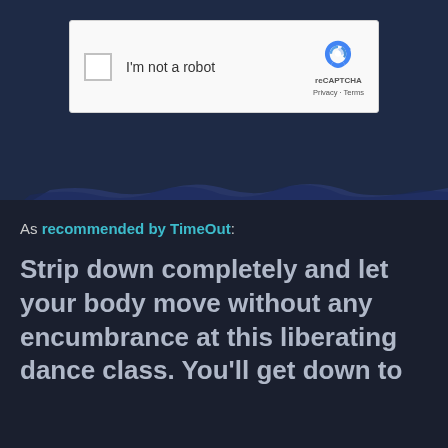[Figure (screenshot): A reCAPTCHA widget on a dark navy background showing a checkbox labeled 'I'm not a robot' with the reCAPTCHA logo, Privacy and Terms links on the right side. Below the widget is a partially visible watermark/text area with a torn or blurred bottom edge.]
As recommended by TimeOut:
Strip down completely and let your body move without any encumbrance at this liberating dance class. You'll get down to